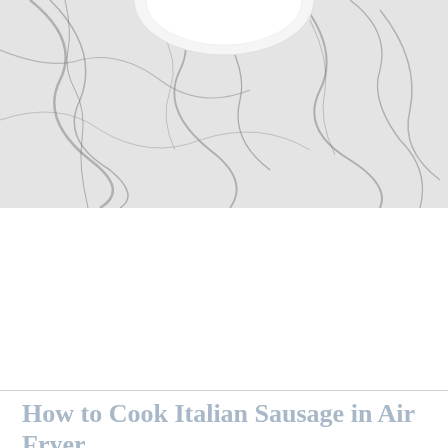[Figure (photo): Marble surface with white and grey veining pattern, partial view of a white circular plate at the top]
How to Cook Italian Sausage in Air Fryer